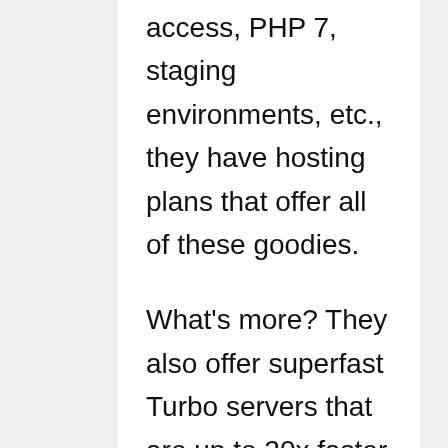access, PHP 7, staging environments, etc., they have hosting plans that offer all of these goodies.
What's more? They also offer superfast Turbo servers that are up to 20x faster than its competitor.
And lastly, A2 Hosting offers (24×7) robust customer support through phone, chat, and support tickets.